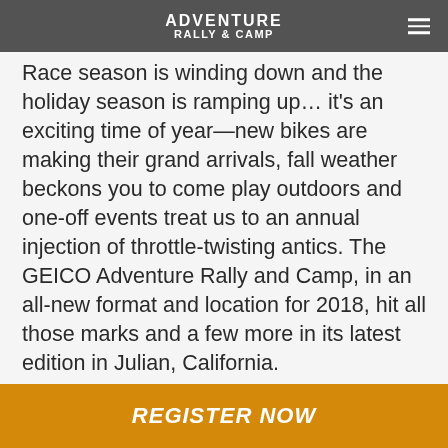ADVENTURE RALLY & CAMP
Race season is winding down and the holiday season is ramping up… it's an exciting time of year—new bikes are making their grand arrivals, fall weather beckons you to come play outdoors and one-off events treat us to an annual injection of throttle-twisting antics. The GEICO Adventure Rally and Camp, in an all-new format and location for 2018, hit all those marks and a few more in its latest edition in Julian, California.
This year, the GEICO Adventure Rally took it outdoors in a first-ever camp-style event at a new venue, the Stagecoach Trails RV Resort, marking the Bonnier event's first visit to
REGISTER NOW